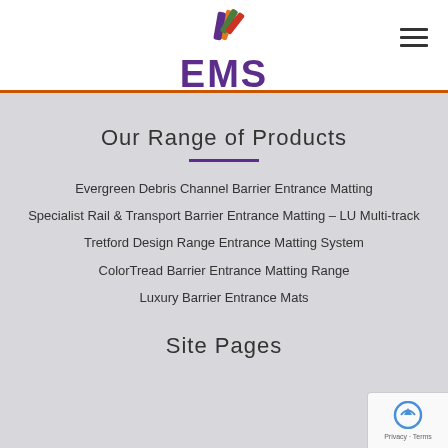[Figure (logo): EMS Entrance Matting Systems logo with colorful diagonal stripe graphic above the text]
Our Range of Products
Evergreen Debris Channel Barrier Entrance Matting
Specialist Rail & Transport Barrier Entrance Matting – LU Multi-track
Tretford Design Range Entrance Matting System
ColorTread Barrier Entrance Matting Range
Luxury Barrier Entrance Mats
Site Pages